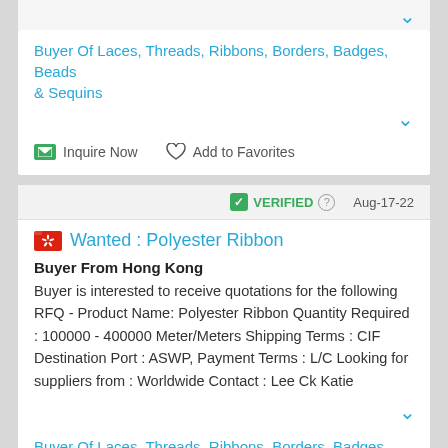Buyer Of Laces, Threads, Ribbons, Borders, Badges, Beads & Sequins
Inquire Now
Add to Favorites
VERIFIED   Aug-17-22
Wanted : Polyester Ribbon
Buyer From Hong Kong
Buyer is interested to receive quotations for the following RFQ - Product Name: Polyester Ribbon Quantity Required : 100000 - 400000 Meter/Meters Shipping Terms : CIF Destination Port : ASWP, Payment Terms : L/C Looking for suppliers from : Worldwide Contact : Lee Ck Katie
Buyer Of Laces, Threads, Ribbons, Borders, Badges, Beads & Sequins